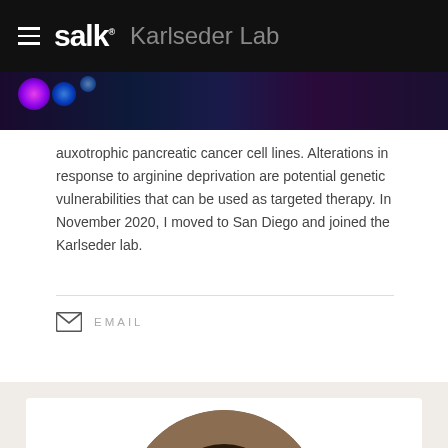salk. Karlseder Lab
auxotrophic pancreatic cancer cell lines. Alterations in response to arginine deprivation are potential genetic vulnerabilities that can be used as targeted therapy. In November 2020, I moved to San Diego and joined the Karlseder lab.
EMAIL
[Figure (photo): Circular portrait photo of a woman with long dark hair, smiling slightly, against a brown/tan background]